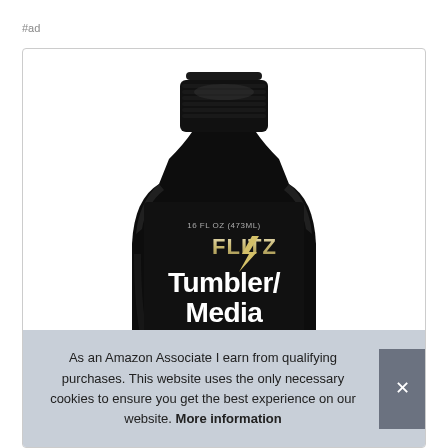#ad
[Figure (photo): A black bottle of Flitz Tumbler/Media product (16 FL OZ / 473ML) with black cap, white FLITZ logo with lightning bolt, and large white text reading 'Tumbler/Media' on the label. Bottom of image shows bullets/coins.]
As an Amazon Associate I earn from qualifying purchases. This website uses the only necessary cookies to ensure you get the best experience on our website. More information